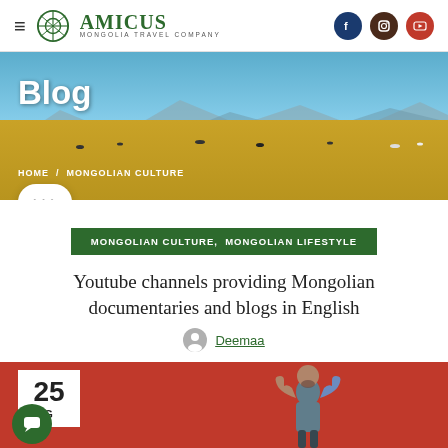AMICUS MONGOLIA TRAVEL COMPANY — navigation header with social icons (Facebook, Instagram, YouTube)
[Figure (photo): Hero banner with Mongolian steppe landscape: blue sky, mountains in distance, golden grassland with livestock, overlaid with 'Blog' title and breadcrumb navigation HOME / MONGOLIAN CULTURE]
Blog
HOME  /  MONGOLIAN CULTURE
MONGOLIAN CULTURE,  MONGOLIAN LIFESTYLE
Youtube channels providing Mongolian documentaries and blogs in English
Deemaa
[Figure (illustration): Red background with a cartoon person giving thumbs up, date badge showing 25 AUG, and a green chat button]